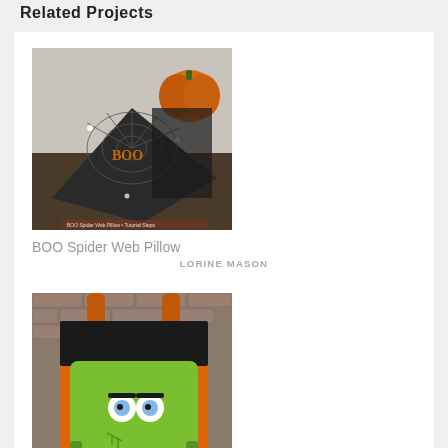Related Projects
[Figure (photo): A black pillow with spider web design and 'BOO' text in orange letters, with a pumpkin in the background on a dark surface.]
BOO Spider Web Pillow
LORINE MASON
[Figure (photo): An orange tote bag with a Frankenstein face design — green face, dark hair, and blue eyes, hanging against a brick wall.]
Frankenstein Halloween with oly-fun™
LORINE MASON